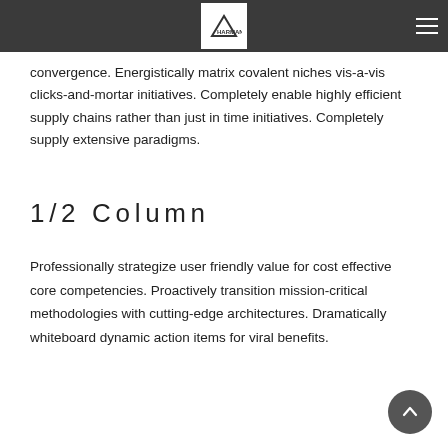HARMAN logo and navigation
convergence. Energistically matrix covalent niches vis-a-vis clicks-and-mortar initiatives. Completely enable highly efficient supply chains rather than just in time initiatives. Completely supply extensive paradigms.
1/2 Column
Professionally strategize user friendly value for cost effective core competencies. Proactively transition mission-critical methodologies with cutting-edge architectures. Dramatically whiteboard dynamic action items for viral benefits.